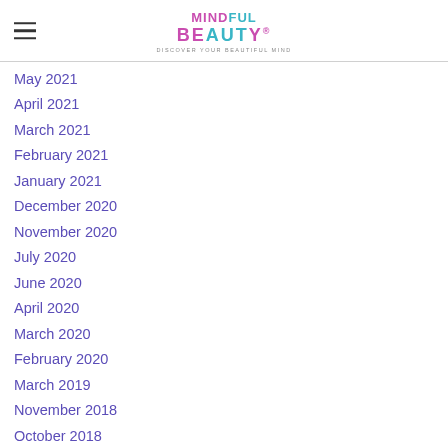MINDFUL BEAUTY® - DISCOVER YOUR BEAUTIFUL MIND
May 2021
April 2021
March 2021
February 2021
January 2021
December 2020
November 2020
July 2020
June 2020
April 2020
March 2020
February 2020
March 2019
November 2018
October 2018
August 2018
June 2018
May 2018